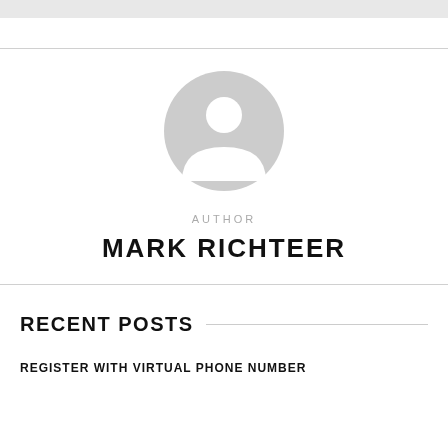[Figure (illustration): Gray placeholder avatar icon showing a generic person silhouette (head and shoulders) in a circular shape]
AUTHOR
MARK RICHTEER
RECENT POSTS
REGISTER WITH VIRTUAL PHONE NUMBER